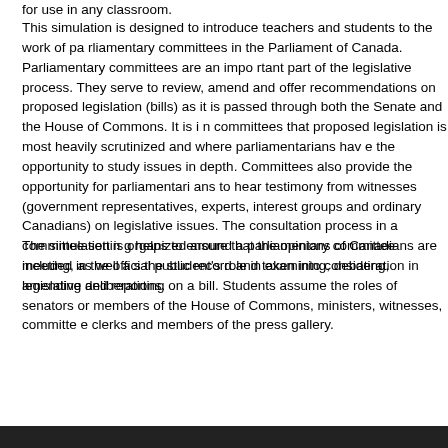for use in any classroom.
This simulation is designed to introduce teachers and students to the work of parliamentary committees in the Parliament of Canada. Parliamentary committees are an important part of the legislative process. They serve to review, amend and offer recommendations on proposed legislation (bills) as it is passed through both the Senate and the House of Commons. It is in committees that proposed legislation is most heavily scrutinized and where parliamentarians have the opportunity to study issues in depth. Committees also provide the opportunity for parliamentarians to hear testimony from witnesses (government representatives, experts, interest groups and ordinary Canadians) on legislative issues. The consultation process in a committee setting helps to ensure that the opinions of Canadians are included in the official public record and taken into consideration in legislative deliberations.
The simulation is organized around a parliamentary committee meeting, as well as the student's role in examining, debating, amending and reporting on a bill. Students assume the roles of senators or members of the House of Commons, ministers, witnesses, committee clerks and members of the press gallery.